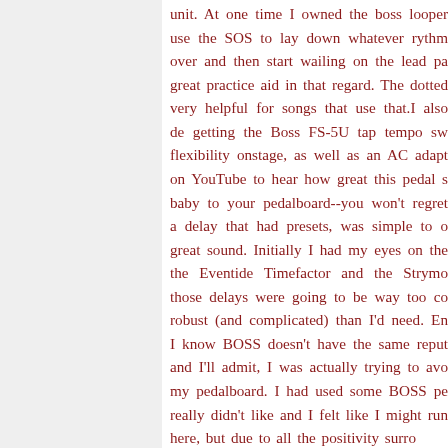unit. At one time I owned the boss looper use the SOS to lay down whatever rythm over and then start wailing on the lead pa great practice aid in that regard. The dotted very helpful for songs that use that.I also de getting the Boss FS-5U tap tempo sw flexibility onstage, as well as an AC adapt on YouTube to hear how great this pedal s baby to your pedalboard--you won't regret a delay that had presets, was simple to o great sound. Initially I had my eyes on the the Eventide Timefactor and the Strymo those delays were going to be way too co robust (and complicated) than I'd need. En I know BOSS doesn't have the same reput and I'll admit, I was actually trying to avo my pedalboard. I had used some BOSS pe really didn't like and I felt like I might run here, but due to all the positivity surro